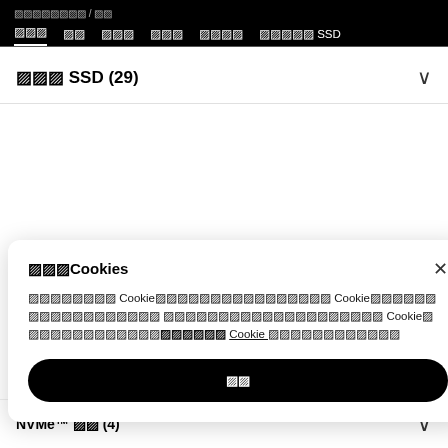�������� / ██
███  ██  ███  ███  ████  █████ SSD
███ SSD (29)
███Cookies
�������� Cookie�������������������� Cookie������ ������������ ���������������������� Cookie█ ������������████████ Cookie ██������████
██
NVMe™ ██ (4)